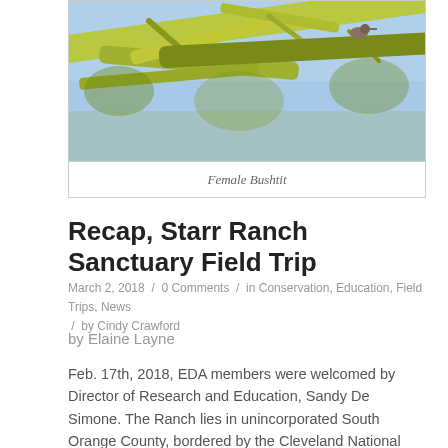[Figure (photo): Close-up photograph of tree branches with yellow-green coloring against a blue sky, with a small bird (Female Bushtit) partially visible among the branches.]
Female Bushtit
Recap, Starr Ranch Sanctuary Field Trip
March 2, 2018 / 0 Comments / in Conservation, Education, Field Trips, News / by Cindy Crawford
by Elaine Layne
Feb. 17th, 2018, EDA members were welcomed by Director of Research and Education, Sandy De Simone. The Ranch lies in unincorporated South Orange County, bordered by the Cleveland National Forest. Starr Ranch is used for various types of ecological research. Participants witnessed a special bird banding demonstration given by Ornithologist Kim